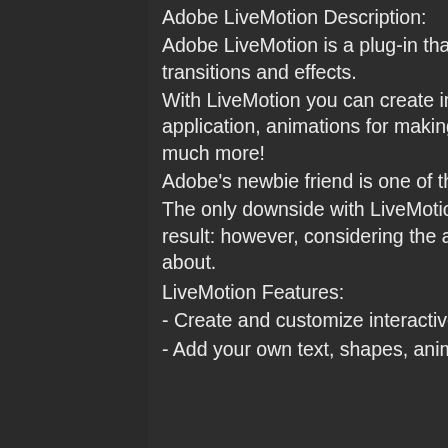Adobe LiveMotion Description:
Adobe LiveMotion is a plug-in that allows you to create incredibly flexible animated transitions and effects.
With LiveMotion you can create interactive Flash transitions for your website or web application, animations for making your website more appealing to your visitors, and much more!
Adobe's newbie friend is one of the best and most powerful Flash designers around
The only downside with LiveMotion is that you have to pay in order to unlock the final result: however, considering the amount of features it offers, this is nothing to worry about.
LiveMotion Features:
- Create and customize interactive Flash transitions for your website or web application
- Add your own text, shapes, animation and transitions